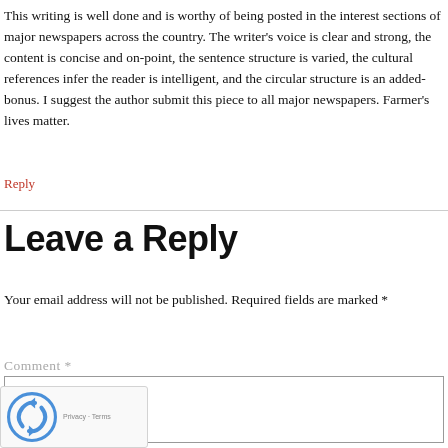This writing is well done and is worthy of being posted in the interest sections of major newspapers across the country. The writer's voice is clear and strong, the content is concise and on-point, the sentence structure is varied, the cultural references infer the reader is intelligent, and the circular structure is an added-bonus. I suggest the author submit this piece to all major newspapers. Farmer's lives matter.
Reply
Leave a Reply
Your email address will not be published. Required fields are marked *
Comment *